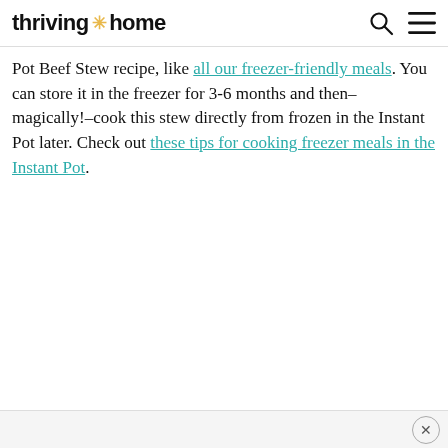thriving * home
Pot Beef Stew recipe, like all our freezer-friendly meals. You can store it in the freezer for 3-6 months and then–magically!–cook this stew directly from frozen in the Instant Pot later. Check out these tips for cooking freezer meals in the Instant Pot.